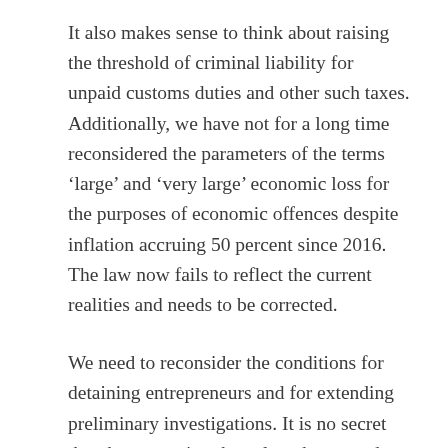It also makes sense to think about raising the threshold of criminal liability for unpaid customs duties and other such taxes. Additionally, we have not for a long time reconsidered the parameters of the terms ‘large’ and ‘very large’ economic loss for the purposes of economic offences despite inflation accruing 50 percent since 2016. The law now fails to reflect the current realities and needs to be corrected.
We need to reconsider the conditions for detaining entrepreneurs and for extending preliminary investigations. It is no secret that these practices have long been used inappropriately.